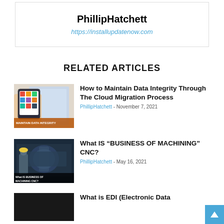PhillipHatchett
https://installupdatenow.com
RELATED ARTICLES
[Figure (photo): Thumbnail for article: How to Maintain Data Integrity Through The Cloud Migration Process — shows a hand pointing at a tablet with colorful icons and rolled blueprints, with text MAINTAIN DATA INTEGRITY overlaid]
How to Maintain Data Integrity Through The Cloud Migration Process
PhillipHatchett - November 7, 2021
[Figure (photo): Thumbnail for article: What IS "BUSINESS OF MACHINING" CNC? — shows a person in a hard hat working with industrial CNC machinery, with text What IS BUSINESS OF MACHINING CNC? overlaid]
What IS “BUSINESS OF MACHINING” CNC?
PhillipHatchett - May 16, 2021
[Figure (photo): Thumbnail for article: What is EDI (Electronic Data...) — dark/black image]
What is EDI (Electronic Data